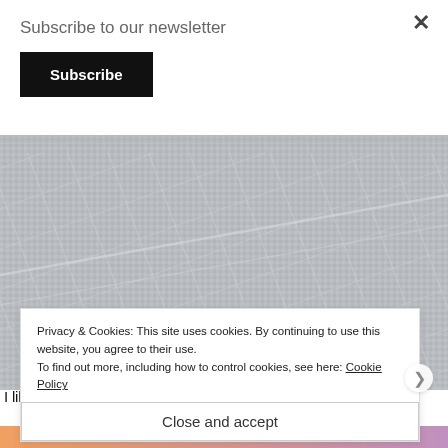Subscribe to our newsletter
Subscribe
[Figure (photo): Close-up photograph of grey woven fabric/textile showing a fine grid or check pattern.]
I like how the secret elephants are hidden inside when it's
Privacy & Cookies: This site uses cookies. By continuing to use this website, you agree to their use.
To find out more, including how to control cookies, see here: Cookie Policy
Close and accept